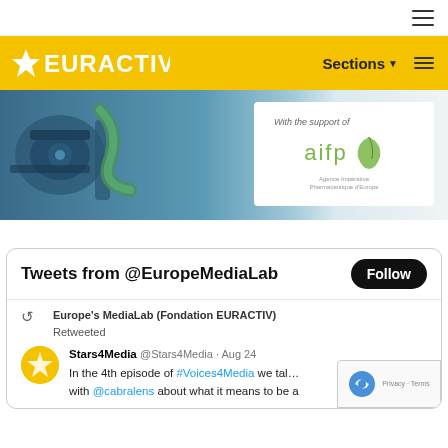[Figure (screenshot): EURACTIV website screenshot showing navigation bar with hamburger menu, yellow EURACTIV logo header with Sections button, a banner image with machinery and 'With the support of aifp' white inset, and a Twitter widget showing Tweets from @EuropeMediaLab with a Follow button and a retweet from Stars4Media about Voices4Media]
Tweets from @EuropeMediaLab
Europe's MediaLab (Fondation EURACTIV) Retweeted
Stars4Media @Stars4Media · Aug 24
In the 4th episode of #Voices4Media we tal... with @cabralens about what it means to be a